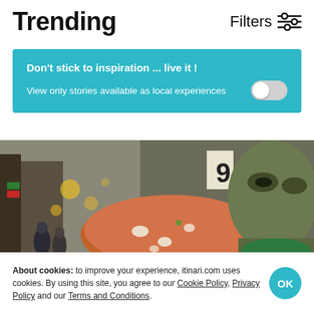Trending
Filters
Don't stick to inspiration ... live it !
View only stories available as local experiences
[Figure (photo): Street scene with a large fantasy creature holding a mushroom, flags visible in background urban street]
About cookies: to improve your experience, itinari.com uses cookies. By using this site, you agree to our Cookie Policy, Privacy Policy and our Terms and Conditions.